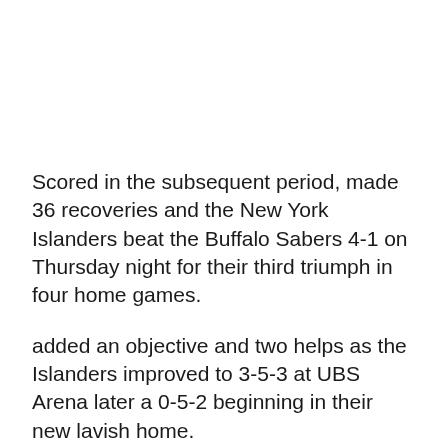Scored in the subsequent period, made 36 recoveries and the New York Islanders beat the Buffalo Sabers 4-1 on Thursday night for their third triumph in four home games.
added an objective and two helps as the Islanders improved to 3-5-3 at UBS Arena later a 0-5-2 beginning in their new lavish home.
Howls made a dipsy-doodle move to escape a Sabers protector prior to shooting the puck past Buffalo netminder at 6:45 of the center time frame to snap a 1-all tie for this third objective this season. Islanders defenseman helped.
Lee expanded the edge to 3-1 with his 10th objective on